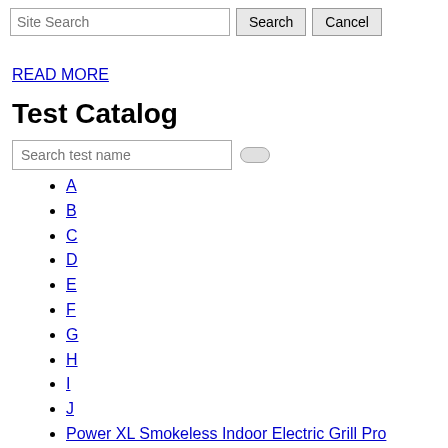Site Search [input] Search Cancel
READ MORE
Test Catalog
Search test name [input]
A
B
C
D
E
F
G
H
I
J
Power XL Smokeless Indoor Electric Grill Pro Replacement Complet
L